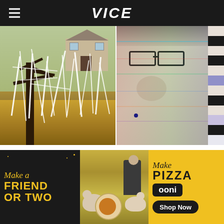VICE
[Figure (photo): Two photos side by side: left shows a tree wrapped in toilet paper streamers with autumn leaves on the ground and a house in the background; right shows a glitchy/distorted close-up photo of a face with RGB color aberration and vertical bar artifacts on the right edge.]
via Reddit. Image [via]
(http://www.flickr.com/photos/stevendepolo/30
[Figure (photo): Advertisement banner for Ooni pizza oven: dark background on left with yellow text 'Make a FRIEND OR TWO', center shows photo of people and dogs at a picnic with a pizza, right side has yellow background with text 'Make Pizza', Ooni logo, and 'Shop Now' button.]